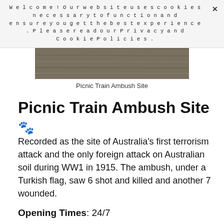Welcome! Our website uses cookies necessary to function and ensure you get the best experience. Please read our Privacy and Cookie Policies.
[Figure (photo): Photograph of the Picnic Train Ambush Site showing a flat, arid landscape with gravel and dry earth.]
Picnic Train Ambush Site
Picnic Train Ambush Site 🐾
Recorded as the site of Australia's first terrorism attack and the only foreign attack on Australian soil during WW1 in 1915. The ambush, under a Turkish flag, saw 6 shot and killed and another 7 wounded.
Opening Times: 24/7